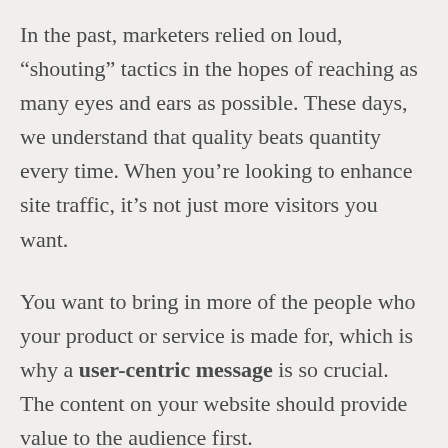In the past, marketers relied on loud, “shouting” tactics in the hopes of reaching as many eyes and ears as possible. These days, we understand that quality beats quantity every time. When you’re looking to enhance site traffic, it’s not just more visitors you want.
You want to bring in more of the people who your product or service is made for, which is why a user-centric message is so crucial. The content on your website should provide value to the audience first.
It’s simple – if you create content that people